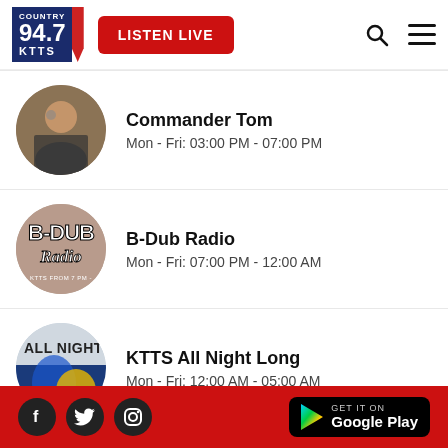[Figure (logo): Country 94.7 KTTS radio station logo, blue and red]
[Figure (other): Red LISTEN LIVE button]
[Figure (other): Commander Tom show - circular photo of radio host at studio]
Commander Tom
Mon - Fri: 03:00 PM - 07:00 PM
[Figure (other): B-Dub Radio show logo - circular brick background with stylized text]
B-Dub Radio
Mon - Fri: 07:00 PM - 12:00 AM
[Figure (other): KTTS All Night Long show - circular image with ALL NIGHT text]
KTTS All Night Long
Mon - Fri: 12:00 AM - 05:00 AM
Social media icons (Facebook, Twitter, Instagram) | Google Play badge